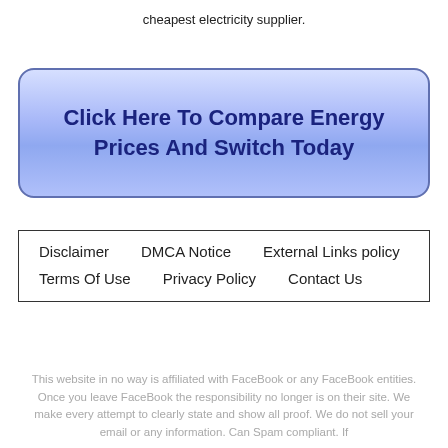cheapest electricity supplier.
[Figure (other): Blue gradient call-to-action button with text: Click Here To Compare Energy Prices And Switch Today]
Disclaimer   DMCA Notice   External Links policy   Terms Of Use   Privacy Policy   Contact Us
This website in no way is affiliated with FaceBook or any FaceBook entities. Once you leave FaceBook the responsibility no longer is on their site. We make every attempt to clearly state and show all proof. We do not sell your email or any information. Can Spam compliant. If